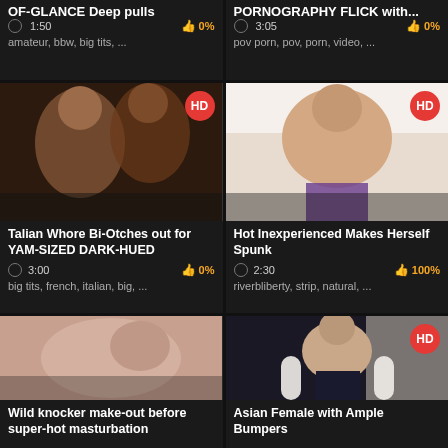[Figure (screenshot): Video thumbnail grid showing adult video website with 6 cards in 2 columns]
1:50  0%
amateur, bbw, big tits, ...
3:05  0%
pov porn, pov, porn, video, ...
[Figure (photo): HD video thumbnail - two women]
Talian Whore Bi-Otches out for YAM-SIZED DARK-HUED
3:00  0%
big tits, french, italian, big, ...
[Figure (photo): HD video thumbnail - woman on bed]
Hot Inexperienced Makes Herself Spunk
2:30  100%
riverbliberty, strip, natural, ...
[Figure (photo): Video thumbnail - close up]
Wild knocker make-out before super-hot masturbation
[Figure (photo): HD video thumbnail - Asian woman in white stockings]
Asian Female with Ample Bumpers